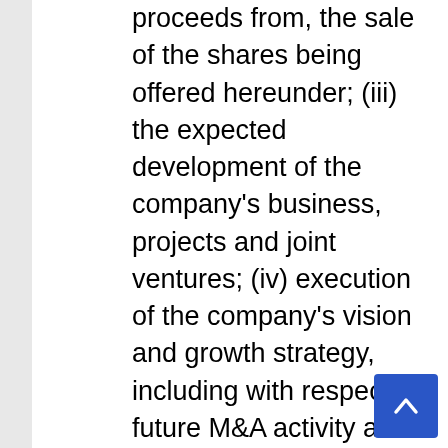proceeds from, the sale of the shares being offered hereunder; (iii) the expected development of the company's business, projects and joint ventures; (iv) execution of the company's vision and growth strategy, including with respect to future M&A activity and global growth; (v) sources and availability of third-party financing for the company's projects; (vi) completion of the company's projects that are currently underway, in development or otherwise under consideration; (vi) renewal of the company's current customer, supplier and other material agreements; and (vii) future liquidity, working capital and capital requirements. Forward-looking statements are provided to allow potential investors the opportunity to understand management's